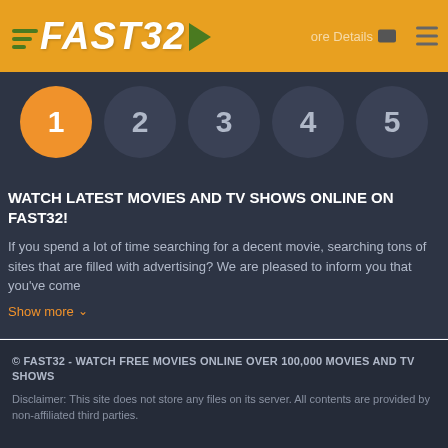FAST32
[Figure (infographic): Step progress indicator with 5 numbered circles; circle 1 is active/orange, circles 2-5 are dark gray]
WATCH LATEST MOVIES AND TV SHOWS ONLINE ON FAST32!
If you spend a lot of time searching for a decent movie, searching tons of sites that are filled with advertising? We are pleased to inform you that you've come
Show more
[Figure (infographic): Facebook and Twitter social sharing buttons]
© FAST32 - WATCH FREE MOVIES ONLINE OVER 100,000 MOVIES AND TV SHOWS
Disclaimer: This site does not store any files on its server. All contents are provided by non-affiliated third parties.